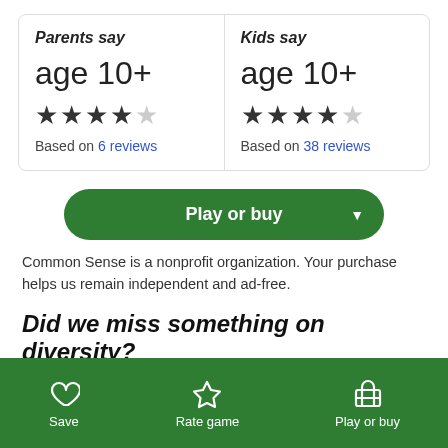| Parents say | Kids say |
| --- | --- |
| age 10+ | age 10+ |
| ★★★★☆ | ★★★★☆ |
| Based on 6 reviews | Based on 38 reviews |
Play or buy
Common Sense is a nonprofit organization. Your purchase helps us remain independent and ad-free.
Did we miss something on diversity?
Save | Rate game | Play or buy